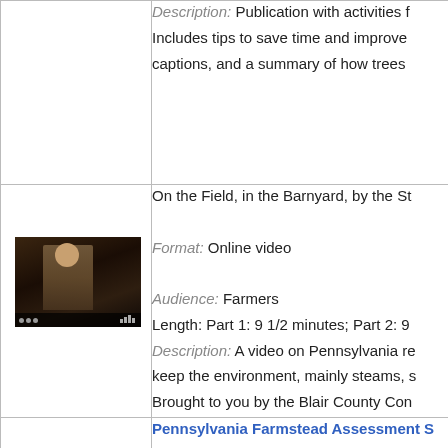| [image] | Description: Publication with activities f... Includes tips to save time and improve ... captions, and a summary of how trees ... |
| [video thumbnail] | On the Field, in the Barnyard, by the St...

Format: Online video

Audience: Farmers
Length: Part 1: 9 1/2 minutes; Part 2: 9...
Description: A video on Pennsylvania re... keep the environment, mainly steams, s... Brought to you by the Blair County Con... |
| [image] | Pennsylvania Farmstead Assessment S...
Only available online

Format: Brochure |